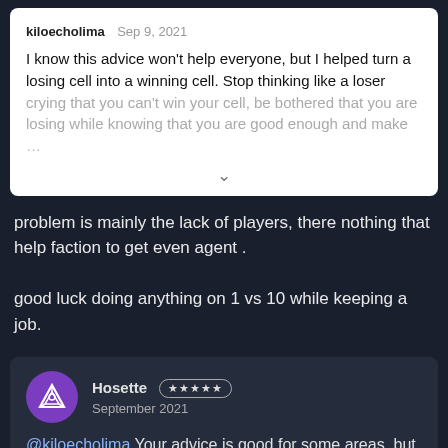kiloecholima  Sep 9, 2021
I know this advice won't help everyone, but I helped turn a losing cell into a winning cell. Stop thinking like a loser crying that you can't win your cell, be bothered that you are losing while knowing that you are good enough and make …
problem is mainly the lack of players, there nothing that help faction to get even agent .

good luck doing anything on 1 vs 10 while keeping a job.
Hosette ★★★★★
September 2021

@kiloecholima Your advice is good for some areas, but different cells can have very different textures.

Population density matters a lot, but what matters just as much is the distribution of agents in high- and low-density areas. If one …